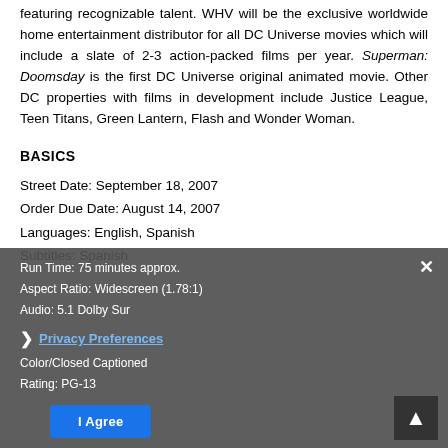featuring recognizable talent. WHV will be the exclusive worldwide home entertainment distributor for all DC Universe movies which will include a slate of 2-3 action-packed films per year. Superman: Doomsday is the first DC Universe original animated movie. Other DC properties with films in development include Justice League, Teen Titans, Green Lantern, Flash and Wonder Woman.
BASICS
Street Date: September 18, 2007
Order Due Date: August 14, 2007
Languages: English, Spanish
Subtitles: Spanish
Run Time: 75 minutes approx.
Aspect Ratio: Widescreen (1.78:1)
Audio: 5.1 Dolby Surround
Color/Closed Captioned
Rating: PG-13